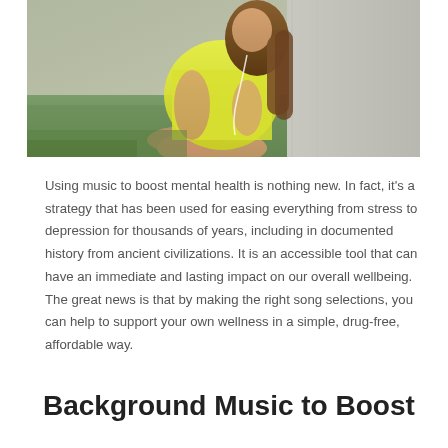[Figure (photo): A young woman with long hair wearing a yellow dress, sitting against a concrete wall outdoors on grass, listening to music with earphones.]
Using music to boost mental health is nothing new. In fact, it's a strategy that has been used for easing everything from stress to depression for thousands of years, including in documented history from ancient civilizations. It is an accessible tool that can have an immediate and lasting impact on our overall wellbeing. The great news is that by making the right song selections, you can help to support your own wellness in a simple, drug-free, affordable way.
Background Music to Boost Mental Health and...